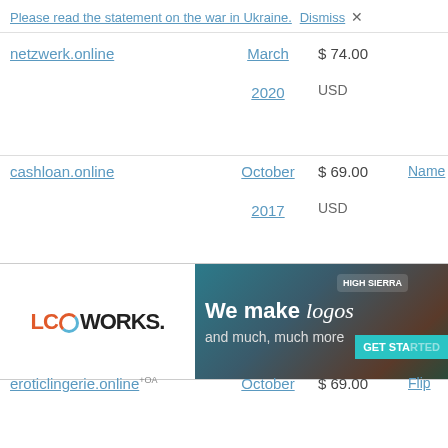Please read the statement on the war in Ukraine. Dismiss ×
netzwerk.online   March 2020   $ 74.00 USD
cashloan.online   October 2017   $ 69.00 USD   Name...
[Figure (advertisement): Logoworks advertisement banner: left side shows Logoworks logo on white background; right side shows dark background with coffee/food imagery, text 'We make logos and much, much more', High Sierra badge, and GET STARTED button]
eroticlingerie.online +OA   October 2016   $ 69.00 USD   Flip...
autotuning.online   May 2020   $ 60.00